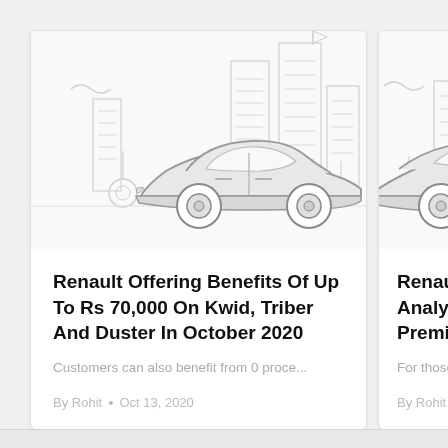[Figure (illustration): Card thumbnail illustration of a car with city buildings in the background, light gray outline style]
Renault Offering Benefits Of Up To Rs 70,000 On Kwid, Triber And Duster In October 2020
Customers can also benefit from 0 proce...
By Rohit • Oct 13, 2020
[Figure (illustration): Card thumbnail illustration of a car with city buildings in the background, light gray outline style (partially visible)]
Renault Kwid C... Analysis: Worth... Premium For Th...
For those looking to b...
By Rohit • Mar 30, 20...